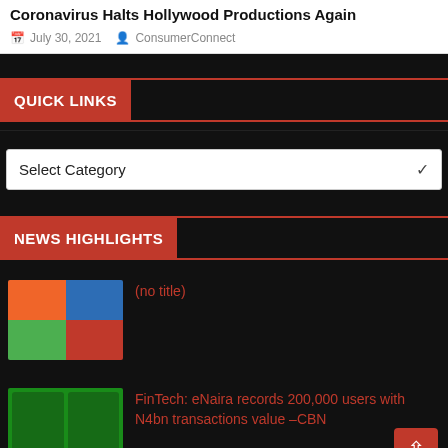Coronavirus Halts Hollywood Productions Again
July 30, 2021   ConsumerConnect
QUICK LINKS
Select Category
NEWS HIGHLIGHTS
(no title)
FinTech: eNaira records 200,000 users with N4bn transactions value –CBN